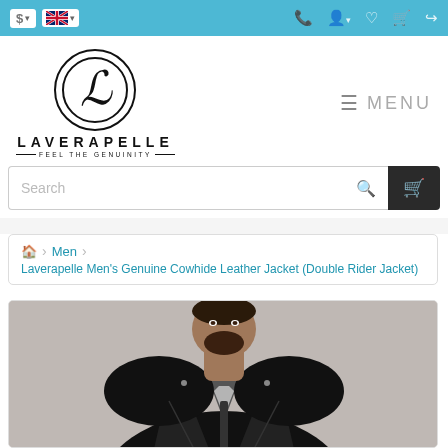Laverapelle e-commerce website header navigation bar
[Figure (logo): Laverapelle logo: circular emblem with script L, brand name LAVERAPELLE, tagline FEEL THE GENUINITY]
≡ MENU
Search
Home > Men > Laverapelle Men's Genuine Cowhide Leather Jacket (Double Rider Jacket)
[Figure (photo): Man wearing a black double rider leather jacket, beard, photographed from chest up]